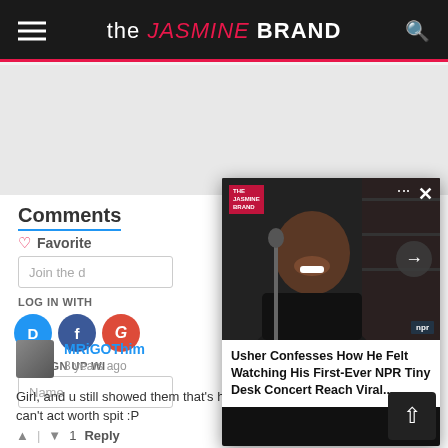the JASMINE BRAND
Comments
♡ Favorite
Join the d...
LOG IN WITH
OR SIGN UP WI...
Name
[Figure (screenshot): Video overlay card showing a man smiling, with title 'Usher Confesses How He Felt Watching His First-Ever NPR Tiny Desk Concert Reach Viral...' and navigation arrow button]
MRiGOThim
3 years ago
Girl, and u still showed them that's how u got the part cuz u can't act worth spit :P
↑ | ↓ 1   Reply